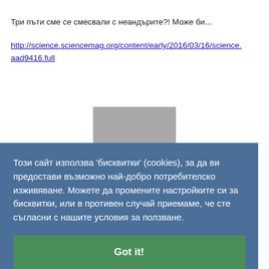Три пъти сме се смесвали с неандърите?! Може би...
http://science.sciencemag.org/content/early/2016/03/16/science.aad9416.full
[Figure (screenshot): Partial view of a webpage with a cookie consent overlay. The overlay has a blue background with Bulgarian text about cookies and a green 'Got it!' button. Behind the overlay is a partial view of a gray figure/illustration on a white background.]
Този сайт използва 'бисквитки' (cookies), за да ви предостави възможно най-добро потребителско изживяване. Можете да промените настройките си за бисквитки, или в противен случай приемаме, че сте съгласни с нашите условия за ползване.
Got it!